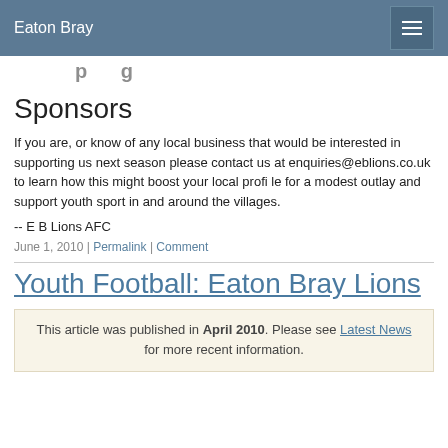Eaton Bray
Sponsors
If you are, or know of any local business that would be interested in supporting us next season please contact us at enquiries@eblions.co.uk to learn how this might boost your local profi le for a modest outlay and support youth sport in and around the villages.
-- E B Lions AFC
June 1, 2010 | Permalink | Comment
Youth Football: Eaton Bray Lions
This article was published in April 2010. Please see Latest News for more recent information.